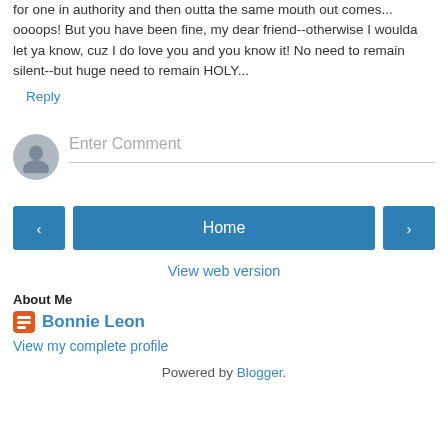for one in authority and then outta the same mouth out comes... oooops! But you have been fine, my dear friend--otherwise I woulda let ya know, cuz I do love you and you know it! No need to remain silent--but huge need to remain HOLY...
Reply
Enter Comment
Home
View web version
About Me
Bonnie Leon
View my complete profile
Powered by Blogger.